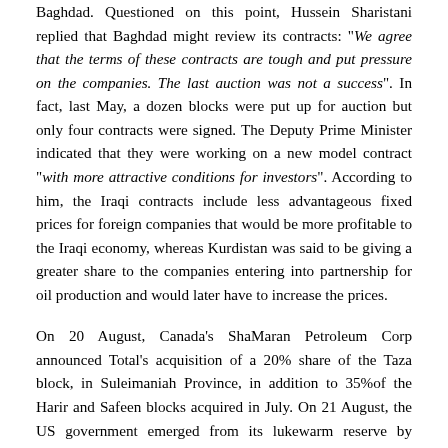Baghdad. Questioned on this point, Hussein Sharistani replied that Baghdad might review its contracts: "We agree that the terms of these contracts are tough and put pressure on the companies. The last auction was not a success". In fact, last May, a dozen blocks were put up for auction but only four contracts were signed. The Deputy Prime Minister indicated that they were working on a new model contract "with more attractive conditions for investors". According to him, the Iraqi contracts include less advantageous fixed prices for foreign companies that would be more profitable to the Iraqi economy, whereas Kurdistan was said to be giving a greater share to the companies entering into partnership for oil production and would later have to increase the prices.
On 20 August, Canada's ShaMaran Petroleum Corp announced Total's acquisition of a 20% share of the Taza block, in Suleimaniah Province, in addition to 35%of the Harir and Safeen blocks acquired in July. On 21 August, the US government emerged from its lukewarm reserve by recalling that oil companies "should not bypass the authority of the central government. Regarding our own companies, we continue to tell them that signing contracts for drilling or production in any region of Iraq whatsoever without the agreement of the Iraqi Federal authorities exposes them to the danger of legal proceedings", declared to the press Victoria Nuland, State Department spokesperson. "Evidently companies will make their own decisions regarding their own business, but until we have federal legislation in Iraq to regulate matter they are taking risks".